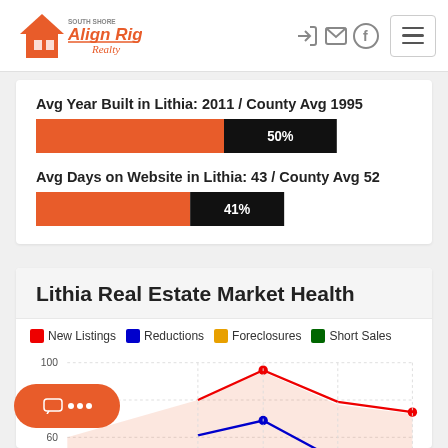[Figure (logo): South Shore Align Right Realty logo in orange]
Avg Year Built in Lithia: 2011 / County Avg 1995
[Figure (bar-chart): Avg Year Built in Lithia: 2011 / County Avg 1995]
Avg Days on Website in Lithia: 43 / County Avg 52
[Figure (bar-chart): Avg Days on Website in Lithia: 43 / County Avg 52]
Lithia Real Estate Market Health
[Figure (line-chart): Line chart showing New Listings, Reductions, Foreclosures, Short Sales over time. Y-axis shows 60 and 100 visible. Red line (New Listings) peaks high around 90 then drops. Blue line (Reductions) visible at bottom.]